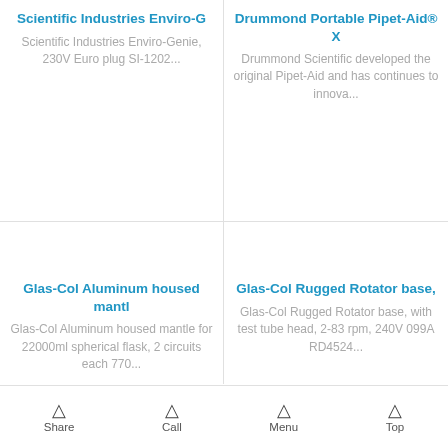Scientific Industries Enviro-G
Scientific Industries Enviro-Genie, 230V Euro plug SI-1202...
Drummond Portable Pipet-Aid® X
Drummond Scientific developed the original Pipet-Aid and has continues to innova...
Glas-Col Aluminum housed mantl
Glas-Col Aluminum housed mantle for 22000ml spherical flask, 2 circuits each 770...
Glas-Col Rugged Rotator base,
Glas-Col Rugged Rotator base, with test tube head, 2-83 rpm, 240V 099A RD4524...
Share  Call  Menu  Top